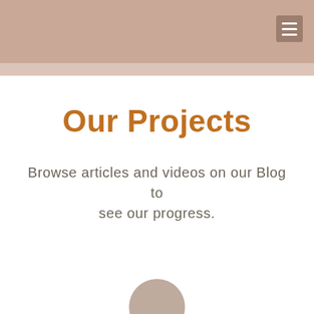Our Projects
Browse articles and videos on our Blog to see our progress.